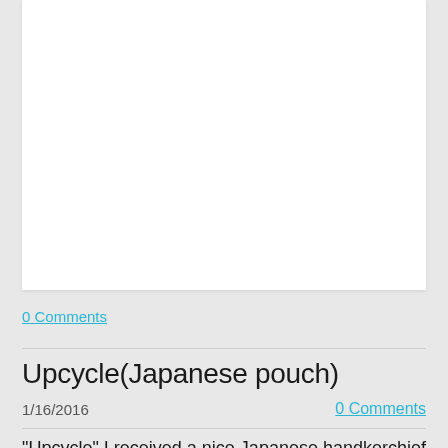[Figure (photo): White image/photo card area placeholder]
0 Comments
Upcycle(Japanese pouch)
1/16/2016
0 Comments
"Upcycle" I received a nice Japanese handkerchief